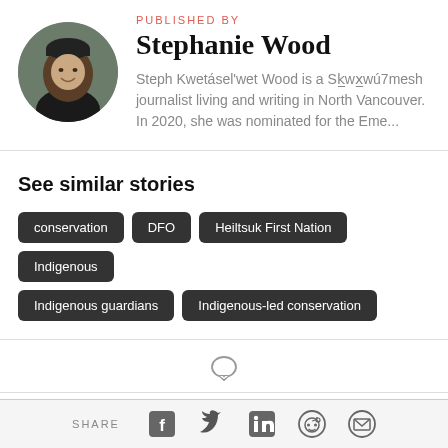PUBLISHED BY
Stephanie Wood
Steph Kwetásel'wet Wood is a Sk̲wx̲wú7mesh journalist living and writing in North Vancouver. In 2020, she was nominated for the Eme...
[Figure (photo): Circular portrait photo of Stephanie Wood wearing a dark beanie and black top, smiling outdoors]
See similar stories
conservation
DFO
Heiltsuk First Nation
Indigenous
Indigenous guardians
Indigenous-led conservation
SHARE